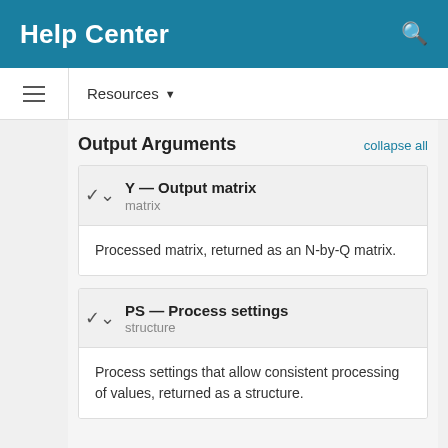Help Center
Resources
Output Arguments
Y — Output matrix
matrix
Processed matrix, returned as an N-by-Q matrix.
PS — Process settings
structure
Process settings that allow consistent processing of values, returned as a structure.